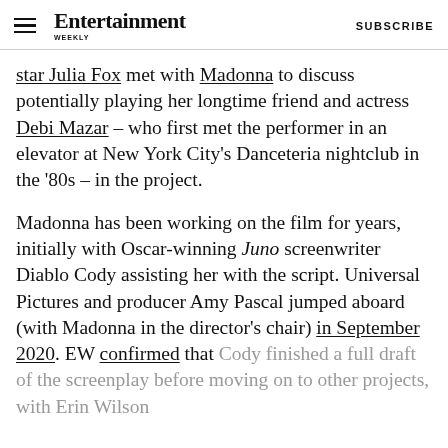Entertainment Weekly | SUBSCRIBE
star Julia Fox met with Madonna to discuss potentially playing her longtime friend and actress Debi Mazar – who first met the performer in an elevator at New York City's Danceteria nightclub in the '80s – in the project.
Madonna has been working on the film for years, initially with Oscar-winning Juno screenwriter Diablo Cody assisting her with the script. Universal Pictures and producer Amy Pascal jumped aboard (with Madonna in the director's chair) in September 2020. EW confirmed that Cody finished a full draft of the screenplay before moving on to other projects, with Erin Wilson